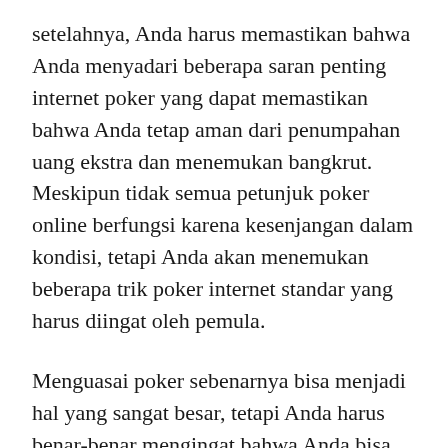setelahnya, Anda harus memastikan bahwa Anda menyadari beberapa saran penting internet poker yang dapat memastikan bahwa Anda tetap aman dari penumpahan uang ekstra dan menemukan bangkrut. Meskipun tidak semua petunjuk poker online berfungsi karena kesenjangan dalam kondisi, tetapi Anda akan menemukan beberapa trik poker internet standar yang harus diingat oleh pemula.
Menguasai poker sebenarnya bisa menjadi hal yang sangat besar, tetapi Anda harus benar-benar mengingat bahwa Anda bisa berkembang menjadi korban beberapa pemain ahli yang hampir bisa membuat Anda bangkrut dengan metode pro mereka. Oleh karena itu, sebelum Anda bermain game di situs